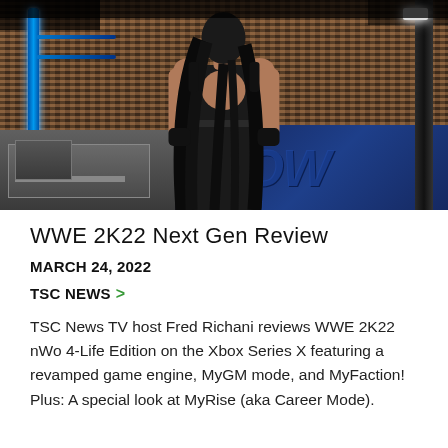[Figure (photo): WWE SmackDown arena scene showing a female wrestler from behind, standing in the ring area. Behind her are large screens displaying virtual crowd faces (ThunderDome setup). The SmackDown logo is partially visible on the right. Blue ring barrier on left, steps at bottom left.]
WWE 2K22 Next Gen Review
MARCH 24, 2022
TSC NEWS >
TSC News TV host Fred Richani reviews WWE 2K22 nWo 4-Life Edition on the Xbox Series X featuring a revamped game engine, MyGM mode, and MyFaction! Plus: A special look at MyRise (aka Career Mode).